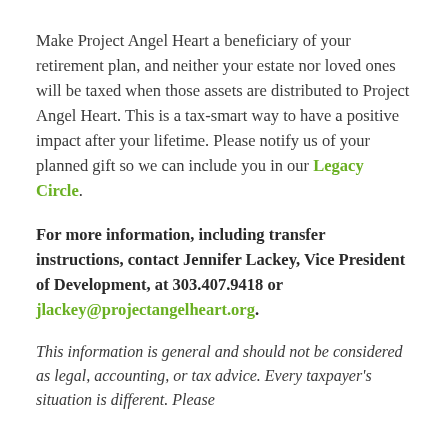Make Project Angel Heart a beneficiary of your retirement plan, and neither your estate nor loved ones will be taxed when those assets are distributed to Project Angel Heart. This is a tax-smart way to have a positive impact after your lifetime. Please notify us of your planned gift so we can include you in our Legacy Circle.
For more information, including transfer instructions, contact Jennifer Lackey, Vice President of Development, at 303.407.9418 or jlackey@projectangelheart.org.
This information is general and should not be considered as legal, accounting, or tax advice. Every taxpayer's situation is different. Please